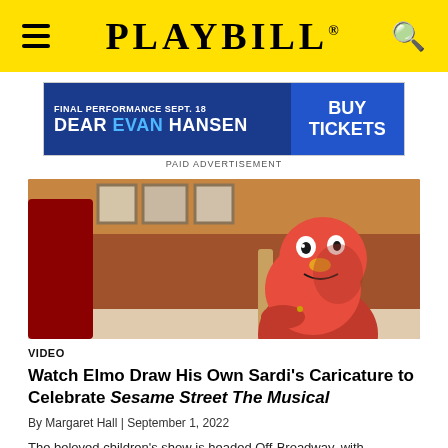PLAYBILL
[Figure (other): Dear Evan Hansen advertisement banner: FINAL PERFORMANCE SEPT. 18 / DEAR EVAN HANSEN / BUY TICKETS]
PAID ADVERTISEMENT
[Figure (photo): Photo of Elmo (red Sesame Street muppet) sitting at a table, appearing to draw, with a person in red clothing visible to the left and framed pictures on the wall in the background.]
VIDEO
Watch Elmo Draw His Own Sardi's Caricature to Celebrate Sesame Street The Musical
By Margaret Hall | September 1, 2022
The beloved children's show is headed Off-Broadway, with